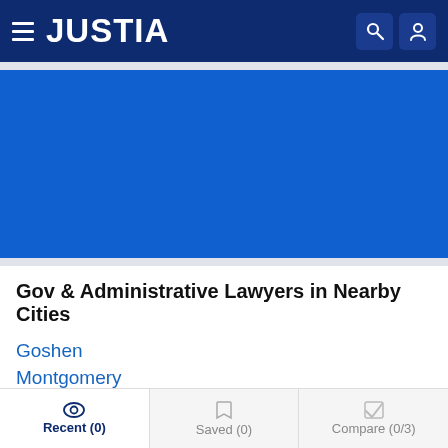JUSTIA
[Figure (other): Blue banner advertisement area]
Gov & Administrative Lawyers in Nearby Cities
Goshen
Montgomery
Bloomingburg
Recent (0)  Saved (0)  Compare (0/3)